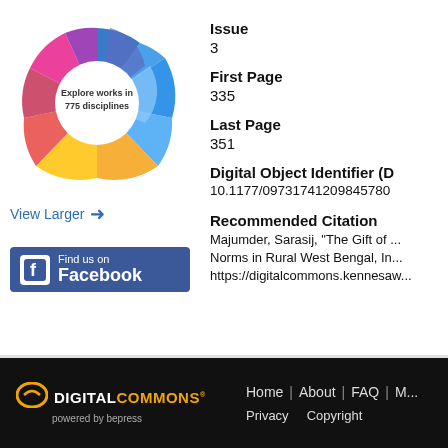[Figure (other): Colorful sunburst/radial chart showing 'Explore works in 775 disciplines']
View Larger →
[Figure (logo): Facebook 'Find us on Facebook' button with blue background]
Issue
3
First Page
335
Last Page
351
Digital Object Identifier (D...
10.1177/09731741209845780
Recommended Citation
Majumder, Sarasij, "The Gift of ... Norms in Rural West Bengal, In... https://digitalcommons.kennesaw...
DIGITAL COMMONS powered by bepress | Home | About | FAQ | M... | Privacy | Copyright